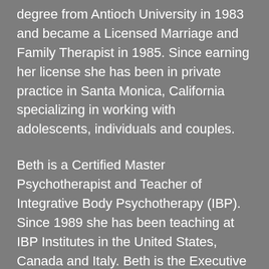degree from Antioch University in 1983 and became a Licensed Marriage and Family Therapist in 1985. Since earning her license she has been in private practice in Santa Monica, California specializing in working with adolescents, individuals and couples.
Beth is a Certified Master Psychotherapist and Teacher of Integrative Body Psychotherapy (IBP). Since 1989 she has been teaching at IBP Institutes in the United States, Canada and Italy. Beth is the Executive Directory of IBP Italy. She has been a somatic psychotherapist since 1985 incorporating many disciplines including, somatic therapies, neuroscience, attachment theory, cognitive approaches, transpersonal psychology and